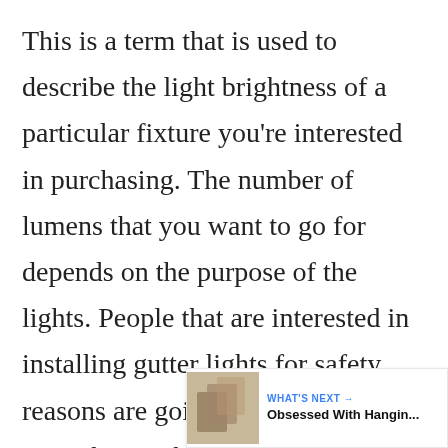This is a term that is used to describe the light brightness of a particular fixture you're interested in purchasing. The number of lumens that you want to go for depends on the purpose of the lights. People that are interested in installing gutter lights for safety reasons are going to want to choose units that are brighter and have a higher number of lumens. Alternatively, you can choose lights with fewer lumens, but insta more units to get the amount of light you want. For the most part, gutter ligh... 300 to 400 lumens, with less expensive